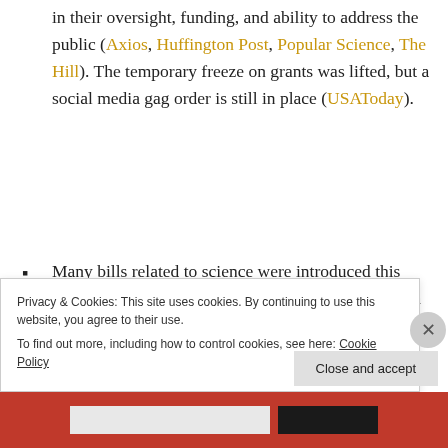in their oversight, funding, and ability to address the public (Axios, Huffington Post, Popular Science, The Hill). The temporary freeze on grants was lifted, but a social media gag order is still in place (USAToday).
Many bills related to science were introduced this week (Ecoroulette). S.53 would authorize/strengthen NOAA's tsunami program. H.R.599 (Sponsor: Rep. Smith
Privacy & Cookies: This site uses cookies. By continuing to use this website, you agree to their use. To find out more, including how to control cookies, see here: Cookie Policy